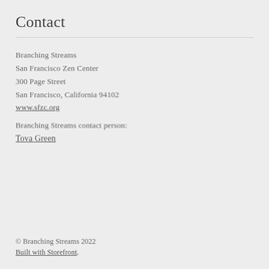Contact
Branching Streams
San Francisco Zen Center
300 Page Street
San Francisco, California 94102
www.sfzc.org
Branching Streams contact person:
Tova Green
© Branching Streams 2022
Built with Storefront.